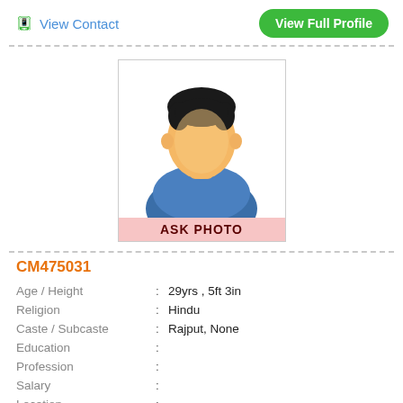View Contact
View Full Profile
[Figure (illustration): Generic male placeholder avatar with blue shirt and ASK PHOTO label at bottom]
CM475031
| Age / Height | : | 29yrs , 5ft 3in |
| Religion | : | Hindu |
| Caste / Subcaste | : | Rajput, None |
| Education | : |  |
| Profession | : |  |
| Salary | : |  |
| Location | : |  |